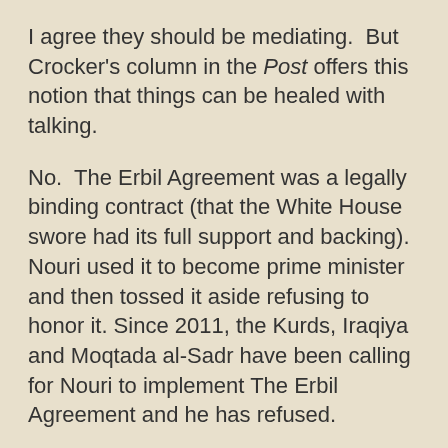I agree they should be mediating.  But Crocker's column in the Post offers this notion that things can be healed with talking.
No.  The Erbil Agreement was a legally binding contract (that the White House swore had its full support and backing).  Nouri used it to become prime minister and then tossed it aside refusing to honor it.  Since 2011, the Kurds, Iraqiya and Moqtada al-Sadr have been calling for Nouri to implement The Erbil Agreement and he has refused.
You can't trust someone like that.  Forget for the moment that The Erbil Agreement is like every other promise Nouri makes (including the "100 Days To End Corruption" promise to the Iraqi people of February 2011) in that he gets attention and praise for a proposal but never follows up on it.